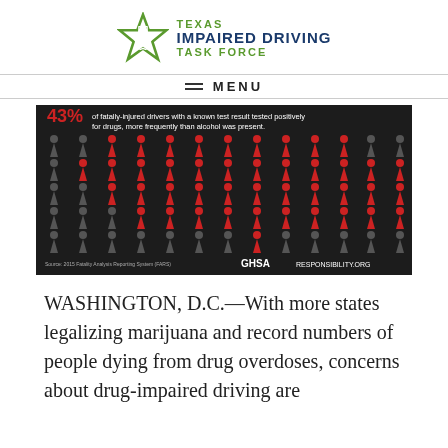[Figure (logo): Texas Impaired Driving Task Force logo with green star outline and Texas state shape, with text TEXAS / IMPAIRED DRIVING / TASK FORCE]
≡  MENU
[Figure (infographic): Dark background infographic showing human figure icons, 43% highlighted in red and rest in grey. Text: '43% of fatally-injured drivers with a known test result tested positively for drugs, more frequently than alcohol was present.' Source: 2015 Fatality Analysis Reporting System (FARS). GHSA and RESPONSIBILITY.ORG logos shown.]
WASHINGTON, D.C.—With more states legalizing marijuana and record numbers of people dying from drug overdoses, concerns about drug-impaired driving are